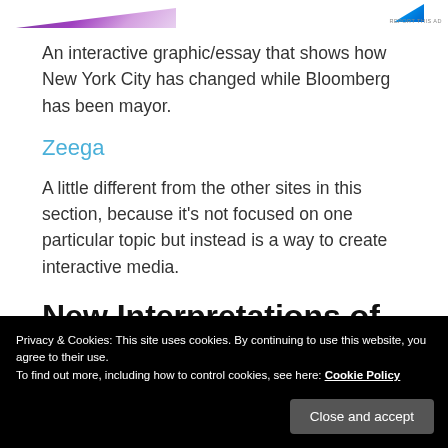[Figure (illustration): Partial advertisement banner at top of page with purple triangular shape on the left and a blue triangular shape on the right, with 'REPORT THIS AD' text]
An interactive graphic/essay that shows how New York City has changed while Bloomberg has been mayor.
Zeega
A little different from the other sites in this section, because it's not focused on one particular topic but instead is a way to create interactive media.
New Interpretations of Text
Privacy & Cookies: This site uses cookies. By continuing to use this website, you agree to their use.
To find out more, including how to control cookies, see here: Cookie Policy
Close and accept